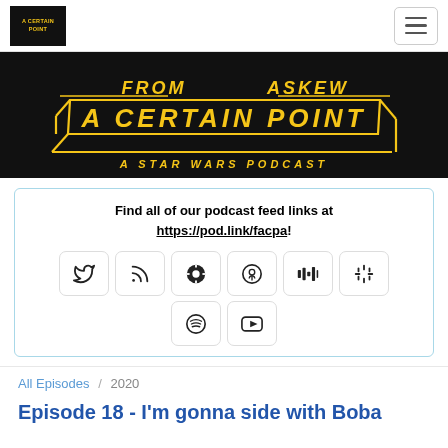From A Certain Point Askew - A Star Wars Podcast
[Figure (logo): From A Certain Point Askew - A Star Wars Podcast banner logo in yellow text on black background]
Find all of our podcast feed links at https://pod.link/facpa!
[Figure (infographic): Social media and podcast platform icon buttons: Twitter, RSS, Overcast, Apple Podcasts, Simplecast, Google Podcasts, Spotify, YouTube]
All Episodes / 2020
Episode 18 - I'm gonna side with Boba